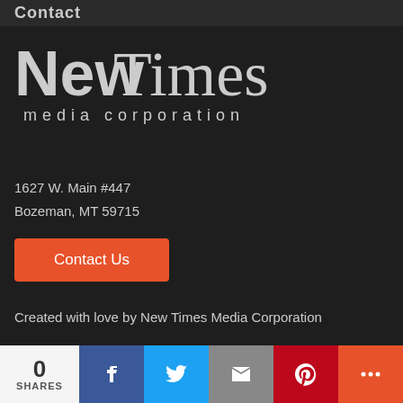Contact
[Figure (logo): New Times media corporation logo — bold 'New' in sans-serif plus 'Times' in serif, with 'media corporation' below in spaced sans-serif, white text on dark background]
1627 W. Main #447
Bozeman, MT 59715
Contact Us
Created with love by New Times Media Corporation
We're New Times Media - a friendly and fun group of people. At New Times Media we love to share anything and everything we know about the great state of Montana, so we created this site to make learning about our state as easy as possible. Our site is
0 SHARES | Facebook | Twitter | Email | Pinterest | More